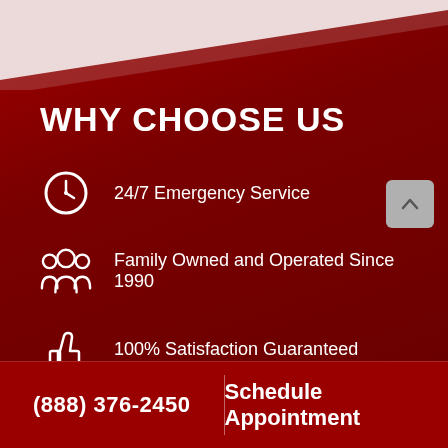WHY CHOOSE US
24/7 Emergency Service
Family Owned and Operated Since 1990
100% Satisfaction Guaranteed
(888) 376-2450
Schedule Appointment